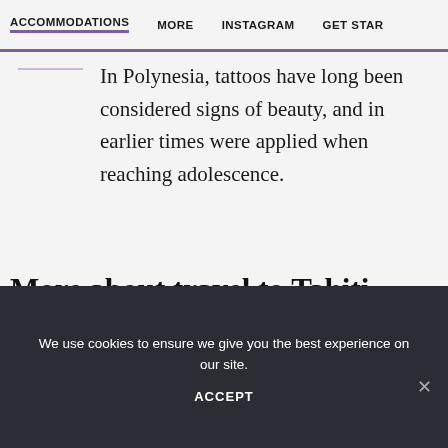ACCOMMODATIONS  MORE  INSTAGRAM  GET STAR
In Polynesia, tattoos have long been considered signs of beauty, and in earlier times were applied when reaching adolescence.
More about travel to Tahiti
Tahiti vacations are among our most popular and most frequently requested trips, especially for
We use cookies to ensure we give you the best experience on our site.
ACCEPT